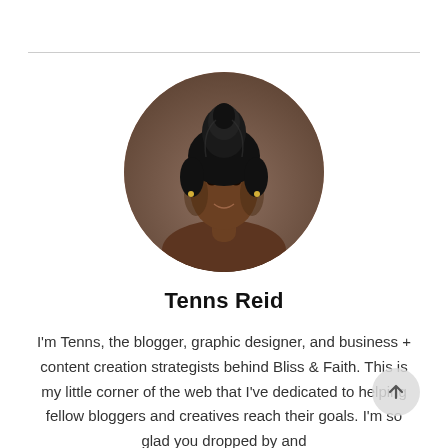[Figure (photo): Circular cropped portrait photo of Tenns Reid, a woman with hair in an updo bun, smiling, against a brown/tan studio background.]
Tenns Reid
I'm Tenns, the blogger, graphic designer, and business + content creation strategists behind Bliss & Faith. This is my little corner of the web that I've dedicated to helping fellow bloggers and creatives reach their goals. I'm so glad you dropped by and